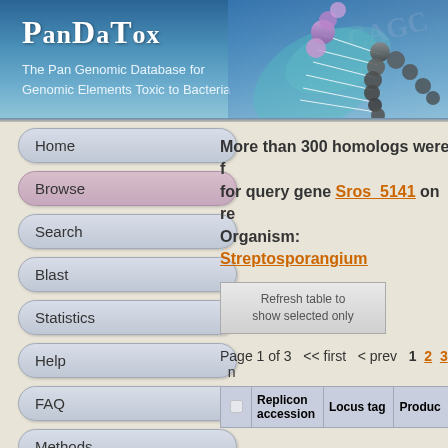PanDaTox — The Pan Genomic Database for Genomic Elements Toxic to Bacteria
Home
Browse
Search
Blast
Statistics
Help
FAQ
Methods
Papers
More than 300 homologs were found for query gene Sros_5141 on re... Organism: Streptosporangium...
Refresh table to show selected only
Page 1 of 3  << first  < prev  1  2  3  n...
|  | Replicon accession | Locus tag | Product |
| --- | --- | --- | --- |